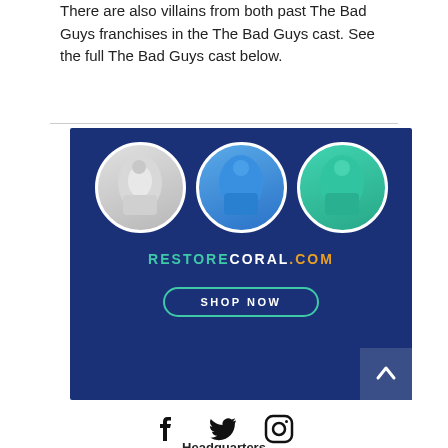There are also villains from both past The Bad Guys franchises in the The Bad Guys cast. See the full The Bad Guys cast below.
[Figure (illustration): Advertisement banner for RestoredCoral.com showing three circular photos of people wearing long-sleeve shirts (white, blue, teal) on a dark navy background, with the text RESTORECORAL.COM and a SHOP NOW button.]
[Figure (other): Social media icons: Facebook, Twitter, Instagram]
Headquarters
99111 Overseas Hwy, Tavernier, Florida 33070